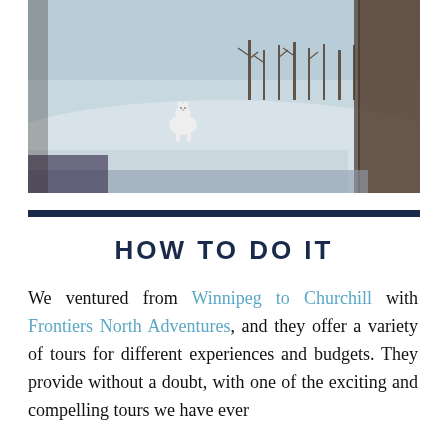[Figure (photo): A polar bear seen through a frosted window from inside a vehicle, standing in a snowy Arctic landscape with bare trees in the background. The window frame is visible on the right side.]
HOW TO DO IT
We ventured from Winnipeg to Churchill with Frontiers North Adventures, and they offer a variety of tours for different experiences and budgets. They provide without a doubt, with one of the exciting and compelling tours we have ever